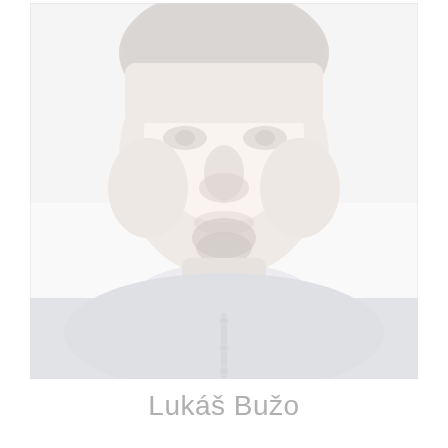[Figure (photo): Portrait photo of a man with short dark hair and a goatee, wearing a grey henley shirt with buttons. The photo is very light/washed out in appearance against a white background.]
Lukáš Bužo